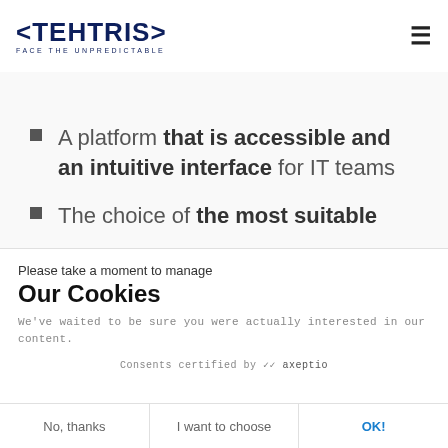TEHTRIS — FACE THE UNPREDICTABLE
A platform that is accessible and an intuitive interface for IT teams
The choice of the most suitable
Please take a moment to manage
Our Cookies
We've waited to be sure you were actually interested in our content.
Consents certified by axeptio
No, thanks | I want to choose | OK!